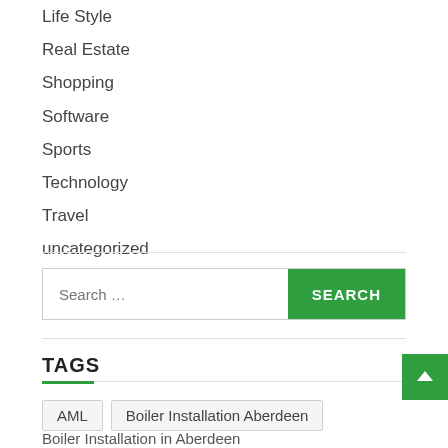Life Style
Real Estate
Shopping
Software
Sports
Technology
Travel
uncategorized
Search ...
TAGS
AML
Boiler Installation Aberdeen
Boiler Installation in Aberdeen